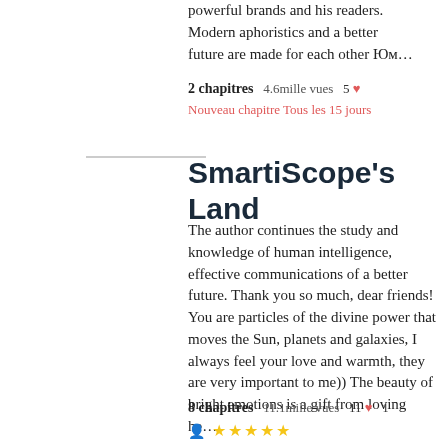powerful brands and his readers. Modern aphoristics and a better future are made for each other Юм…
2 chapitres   4.6mille vues   5 ❤
Nouveau chapitre Tous les 15 jours
SmartiScope's Land
The author continues the study and knowledge of human intelligence, effective communications of a better future. Thank you so much, dear friends! You are particles of the divine power that moves the Sun, planets and galaxies, I always feel your love and warmth, they are very important to me)) The beauty of bright emotions is a gift from loving he…
8 chapitres   11.1mille vues   11 ❤   1
★★★★★
Nouveau chapitre Tous les 15 jours